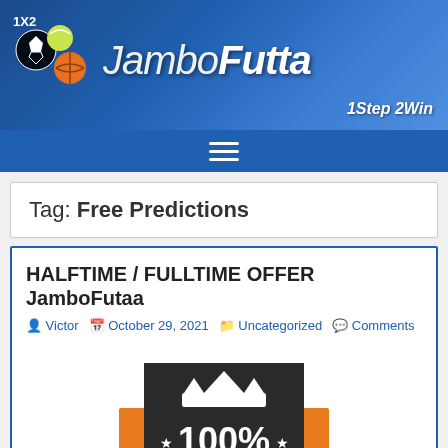JamboFutta — 1Step 2Win
Tag: Free Predictions
HALFTIME / FULLTIME OFFER JamboFutaa
Victor  October 29, 2021  Uncategorized  Comments
[Figure (logo): Orange and black shield/badge graphic with crown icon, '100%' text, 'FIXED MATCHES' on orange banner, 'GUARANTEED' on dark banner with star. Promotional badge for fixed matches guarantee.]